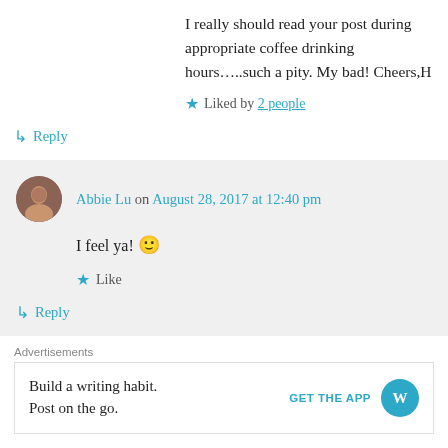I really should read your post during appropriate coffee drinking hours…..such a pity. My bad! Cheers,H
Liked by 2 people
↳ Reply
Abbie Lu on August 28, 2017 at 12:40 pm
I feel ya! 🙂
Like
↳ Reply
Advertisements
Build a writing habit. Post on the go. GET THE APP